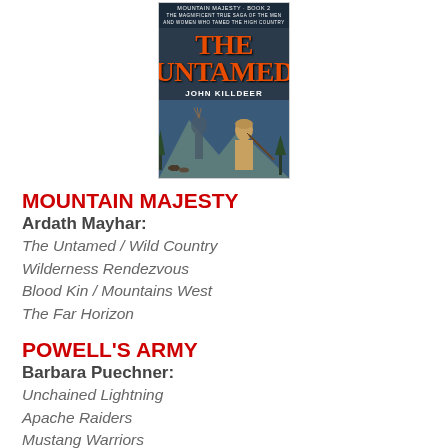[Figure (illustration): Book cover for 'The Untamed' by John Killdeer, Mountain Majesty Book 2, showing frontier figures in wilderness setting with orange/red title text]
MOUNTAIN MAJESTY
Ardath Mayhar:
The Untamed / Wild Country
Wilderness Rendezvous
Blood Kin / Mountains West
The Far Horizon
POWELL'S ARMY
Barbara Puechner:
Unchained Lightning
Apache Raiders
Mustang Warriors